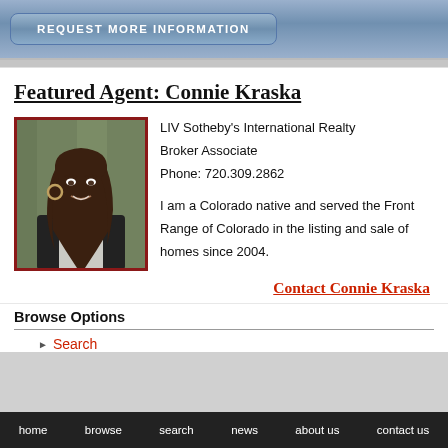REQUEST MORE INFORMATION
Featured Agent: Connie Kraska
[Figure (photo): Portrait photo of Connie Kraska, a woman with long brown hair, smiling, wearing a dark blazer and white blouse, with a dark red border frame.]
LIV Sotheby's International Realty
Broker Associate
Phone: 720.309.2862

I am a Colorado native and served the Front Range of Colorado in the listing and sale of homes since 2004.
Contact Connie Kraska
Browse Options
Search
home   browse   search   news   about us   contact us